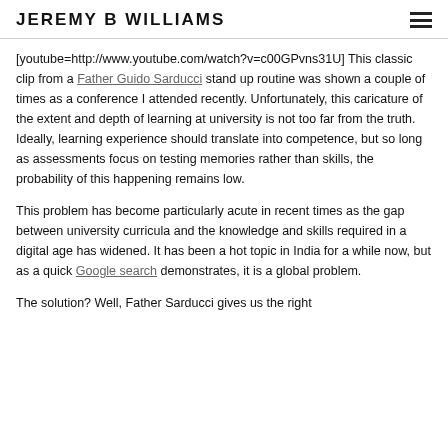JEREMY B WILLIAMS
[youtube=http://www.youtube.com/watch?v=c00GPvns31U] This classic clip from a Father Guido Sarducci stand up routine was shown a couple of times as a conference I attended recently. Unfortunately, this caricature of the extent and depth of learning at university is not too far from the truth. Ideally, learning experience should translate into competence, but so long as assessments focus on testing memories rather than skills, the probability of this happening remains low.
This problem has become particularly acute in recent times as the gap between university curricula and the knowledge and skills required in a digital age has widened. It has been a hot topic in India for a while now, but as a quick Google search demonstrates, it is a global problem.
The solution? Well, Father Sarducci gives us the right...